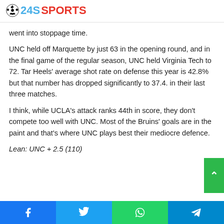245SPORTS
went into stoppage time.
UNC held off Marquette by just 63 in the opening round, and in the final game of the regular season, UNC held Virginia Tech to 72. Tar Heels' average shot rate on defense this year is 42.8% but that number has dropped significantly to 37.4. in their last three matches.
I think, while UCLA's attack ranks 44th in score, they don't compete too well with UNC. Most of the Bruins' goals are in the paint and that's where UNC plays best their mediocre defence.
Lean: UNC + 2.5 (110)